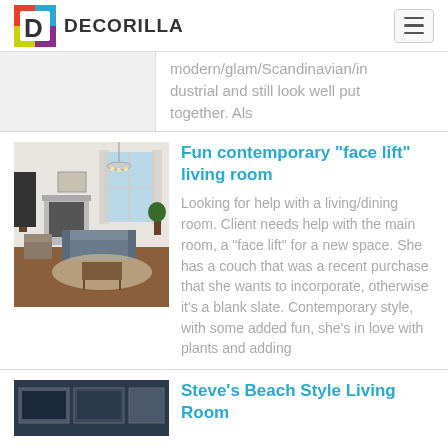DECORILLA
modern/glam/Scandinavian/industrial and still look well put together. Als
Fun contemporary "face lift" living room
[Figure (photo): Interior photo of a contemporary living room with hardwood floors, a fireplace, chandelier, and plants]
Looking for help with a living/dining room. Client needs help with the main room, a "face lift" for a new space. She has a couch that was a recent purchase that she wants to incorporate, otherwise it's a blank slate. Contemporary style, with some added fun, she's in love with plants and adding
Steve's Beach Style Living Room